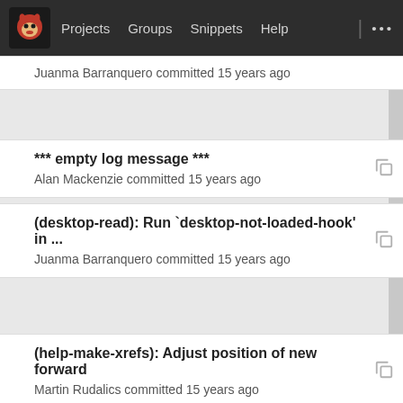Projects  Groups  Snippets  Help  ...
Juanma Barranquero committed 15 years ago
*** empty log message ***
Alan Mackenzie committed 15 years ago
(desktop-read): Run `desktop-not-loaded-hook' in ...
Juanma Barranquero committed 15 years ago
(help-make-xrefs): Adjust position of new forward
Martin Rudalics committed 15 years ago